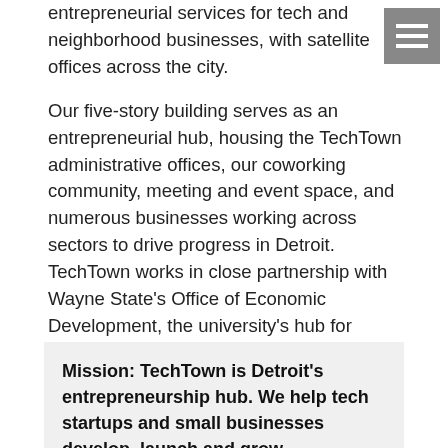entrepreneurial services for tech and neighborhood businesses, with satellite offices across the city.
Our five-story building serves as an entrepreneurial hub, housing the TechTown administrative offices, our coworking community, meeting and event space, and numerous businesses working across sectors to drive progress in Detroit. TechTown works in close partnership with Wayne State's Office of Economic Development, the university's hub for catalyzing business activity in Midtown and across the Detroit region.
Mission: TechTown is Detroit's entrepreneurship hub. We help tech startups and small businesses develop, launch and grow.